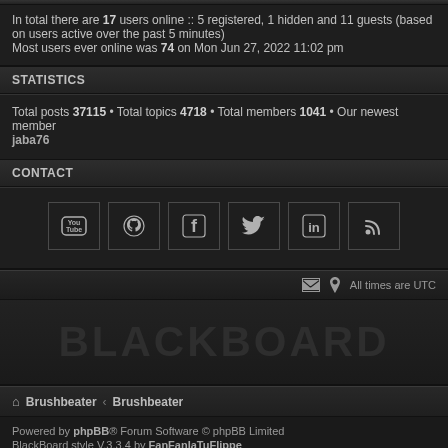In total there are 17 users online :: 5 registered, 1 hidden and 11 guests (based on users active over the past 5 minutes)
Most users ever online was 74 on Mon Jun 27, 2022 11:02 pm
STATISTICS
Total posts 37115 • Total topics 4718 • Total members 1041 • Our newest member jaba76
CONTACT
[Figure (infographic): Six social media icons in bordered boxes: YouTube, GitHub, Facebook, Twitter, LinkedIn, RSS]
All times are UTC
[Figure (logo): BLACKBOARD text logo in large dark letters]
Brushbeater · Brushbeater
Powered by phpBB® Forum Software © phpBB Limited
BlackBoard style V.3.3.4 by FanFanIaTuFlippe
Privacy | Terms